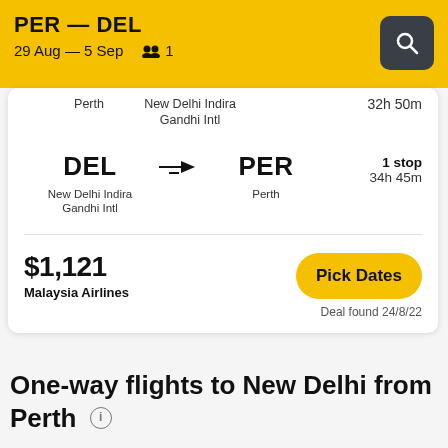PER — DEL
29 Aug — 5 Sep  1
Perth   New Delhi Indira Gandhi Intl   32h 50m
DEL → PER
New Delhi Indira Gandhi Intl   Perth
1 stop
34h 45m
$1,121
Malaysia Airlines
Pick Dates
Deal found 24/8/22
One-way flights to New Delhi from Perth ⓘ